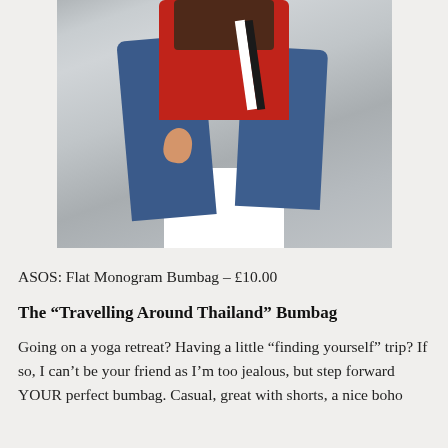[Figure (photo): A person wearing a red sweater with a dark monogram pattern at the top and white/black stripes on the side, paired with blue jeans, sitting on a white platform/box against a light grey background.]
ASOS: Flat Monogram Bumbag – £10.00
The “Travelling Around Thailand” Bumbag
Going on a yoga retreat? Having a little “finding yourself” trip? If so, I can’t be your friend as I’m too jealous, but step forward YOUR perfect bumbag. Casual, great with shorts, a nice boho